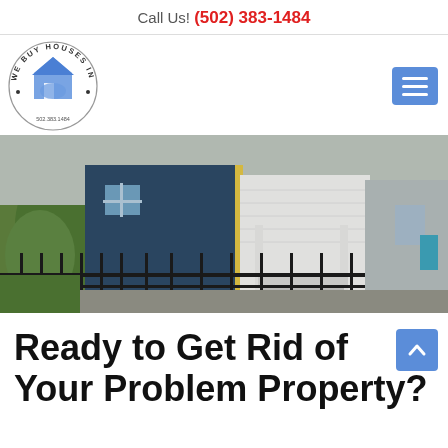Call Us! (502) 383-1484
[Figure (logo): We Buy Houses In Kentucky circular logo with house and Kentucky state shape, phone 502.383.1484]
[Figure (photo): Photo of residential houses, blue/dark siding with white brick, porch with black iron fence and railing, evergreen shrub in foreground]
Ready to Get Rid of Your Problem Property?